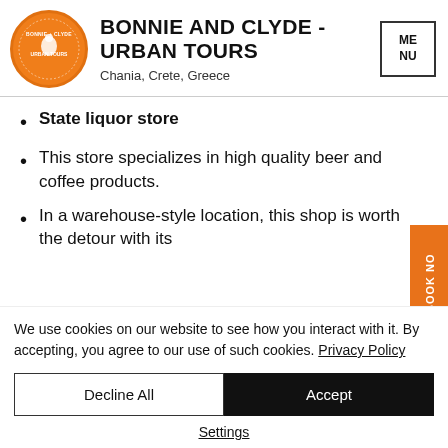[Figure (logo): Bonnie and Clyde Urban Tours circular orange logo with white bird/figure illustration]
BONNIE AND CLYDE - URBAN TOURS
Chania, Crete, Greece
[Figure (other): MENU box button with square border]
State liquor store
This store specializes in high quality beer and coffee products.
In a warehouse-style location, this shop is worth the detour with its
We use cookies on our website to see how you interact with it. By accepting, you agree to our use of such cookies. Privacy Policy
Decline All
Accept
Settings